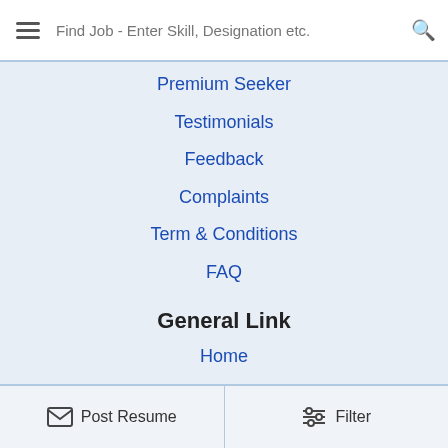Find Job - Enter Skill, Designation etc.
Premium Seeker
Testimonials
Feedback
Complaints
Term & Conditions
FAQ
General Link
Home
About Us
Contact Us
Sitemap
Safety Guide
Fraud Alert
[Figure (infographic): Row of social media icons: Facebook, Twitter, LinkedIn, Pinterest, Blogger, YouTube]
Post Resume   Filter